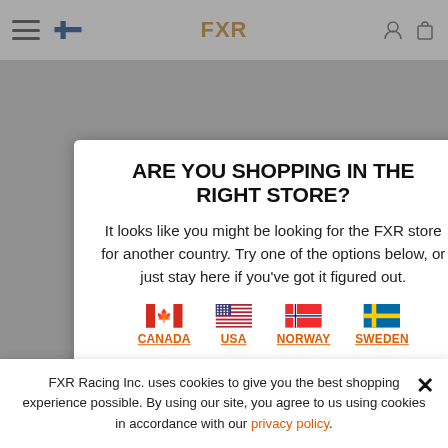[Figure (screenshot): FXR online store website background with navigation bar showing hamburger menu, Finnish flag, FXR logo, and shopping bag icons]
ARE YOU SHOPPING IN THE RIGHT STORE?
It looks like you might be looking for the FXR store for another country. Try one of the options below, or just stay here if you've got it figured out.
[Figure (infographic): Four country flag links: Canada (Canadian flag), USA (US flag), Norway (Norwegian flag), Sweden (Swedish flag) with orange underlined country labels]
STAY HERE
FXR Racing Inc. uses cookies to give you the best shopping experience possible. By using our site, you agree to us using cookies in accordance with our privacy policy.